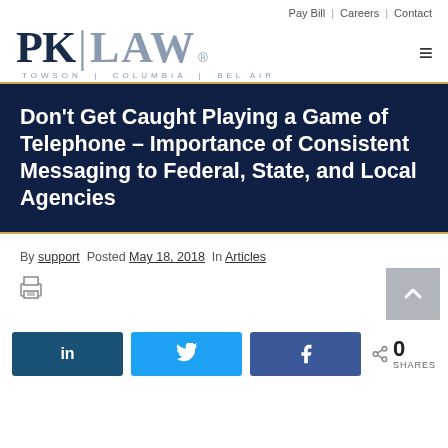Pay Bill | Careers | Contact
[Figure (logo): PK LAW logo with tagline TOWSON | COLUMBIA | BEL AIR]
Don't Get Caught Playing a Game of Telephone – Importance of Consistent Messaging to Federal, State, and Local Agencies
By support  Posted May 18, 2018  In Articles